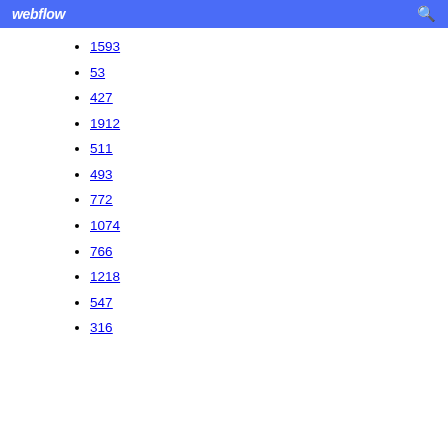webflow
1593
53
427
1912
511
493
772
1074
766
1218
547
316